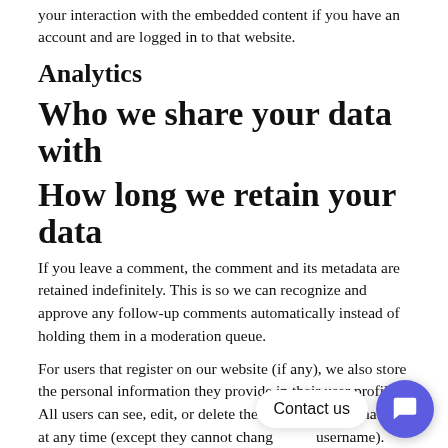your interaction with the embedded content if you have an account and are logged in to that website.
Analytics
Who we share your data with
How long we retain your data
If you leave a comment, the comment and its metadata are retained indefinitely. This is so we can recognize and approve any follow-up comments automatically instead of holding them in a moderation queue.
For users that register on our website (if any), we also store the personal information they provide in their user profile. All users can see, edit, or delete their personal information at any time (except they cannot change their username). Website administrators can also see and edit that information.